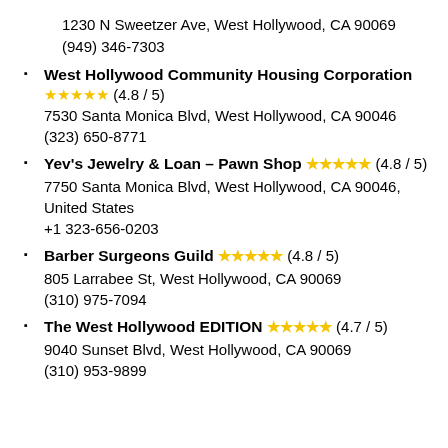1230 N Sweetzer Ave, West Hollywood, CA 90069
(949) 346-7303
West Hollywood Community Housing Corporation ★★★★★ (4.8 / 5)
7530 Santa Monica Blvd, West Hollywood, CA 90046
(323) 650-8771
Yev's Jewelry & Loan – Pawn Shop ★★★★★ (4.8 / 5)
7750 Santa Monica Blvd, West Hollywood, CA 90046, United States
+1 323-656-0203
Barber Surgeons Guild ★★★★★ (4.8 / 5)
805 Larrabee St, West Hollywood, CA 90069
(310) 975-7094
The West Hollywood EDITION ★★★★★ (4.7 / 5)
9040 Sunset Blvd, West Hollywood, CA 90069
(310) 953-9899